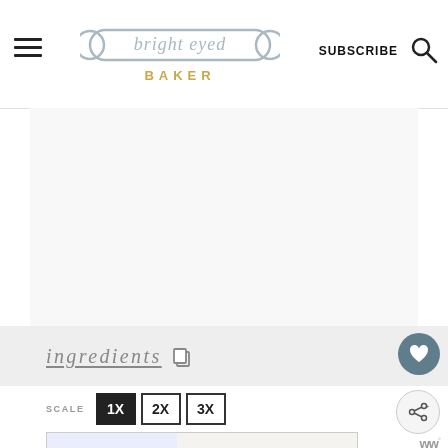Bright Eyed Baker — SUBSCRIBE (navigation header with hamburger menu and search icon)
[Figure (logo): Bright Eyed Baker logo with rolling pin illustration above cursive script 'bright eyed' and gold 'BAKER' text]
ingredients
SCALE 1X 2X 3X
[Figure (photo): Operation Gratitude advertisement banner showing healthcare workers holding gift boxes with 'Thank you!' text and American flag star graphic]